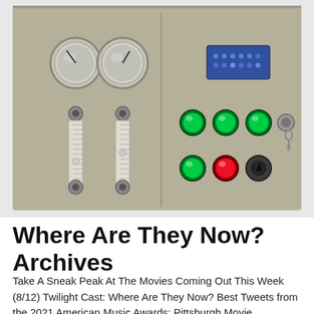[Figure (photo): A control panel / equipment panel painted in beige/gray color. The left half shows two circular pressure gauges at the top and two vertical flow meters (rotameters) below them with knobs. The right half shows a blue rectangular indicator panel at top right, three green indicator lights in a row, a key switch, and below that a green light, a red light, and a black symbol/button.]
Where Are They Now? Archives
Take A Sneak Peak At The Movies Coming Out This Week (8/12) Twilight Cast: Where Are They Now? Best Tweets from the 2021 American Music Awards; Pittsburgh Movie